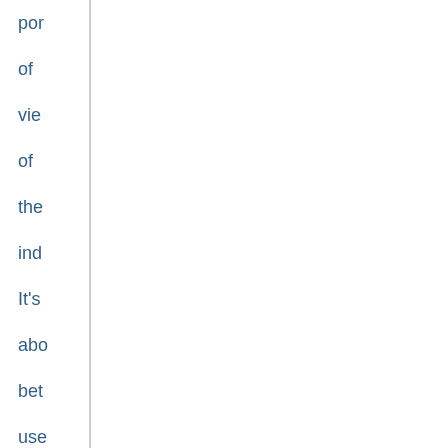por of vie of the ind It's abo bet use of info as dist to the sup of pro or ser It's abo tho